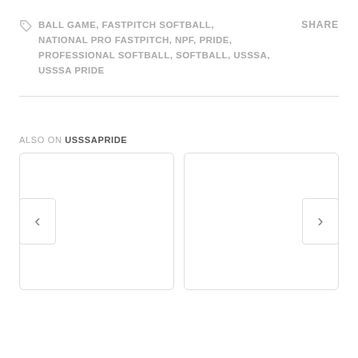BALL GAME, FASTPITCH SOFTBALL, NATIONAL PRO FASTPITCH, NPF, PRIDE, PROFESSIONAL SOFTBALL, SOFTBALL, USSSA, USSSA PRIDE
SHARE
ALSO ON USSSAPRIDE
[Figure (other): Two card placeholders with left and right navigation arrows, part of a content slider UI]